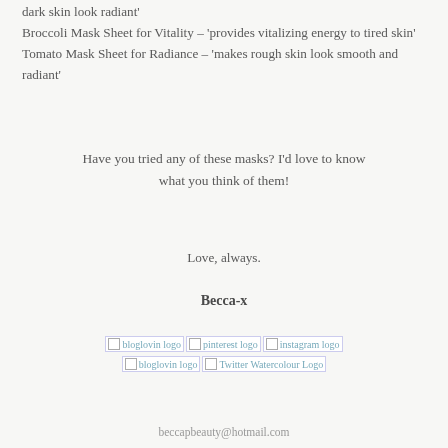dark skin look radiant'
Broccoli Mask Sheet for Vitality – 'provides vitalizing energy to tired skin'
Tomato Mask Sheet for Radiance – 'makes rough skin look smooth and radiant'
Have you tried any of these masks? I'd love to know what you think of them!
Love, always.
Becca-x
[Figure (logo): Row of social media logos: bloglovin logo, pinterest logo, instagram logo]
[Figure (logo): Row of social media logos: bloglovin logo, Twitter Watercolour Logo]
beccapbeauty@hotmail.com